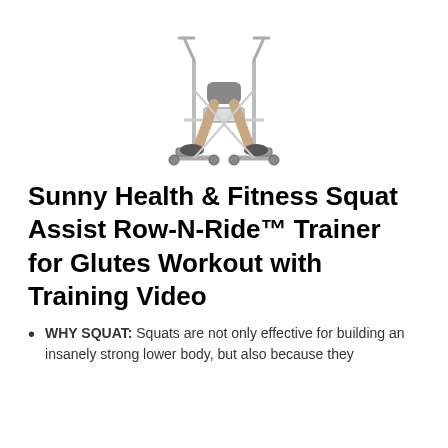[Figure (photo): Photo of a person using the Sunny Health & Fitness Squat Assist Row-N-Ride trainer machine, showing the lower body seated on the exercise equipment with handlebars and foot pedals visible.]
Sunny Health & Fitness Squat Assist Row-N-Ride™ Trainer for Glutes Workout with Training Video
WHY SQUAT: Squats are not only effective for building an insanely strong lower body, but also because they